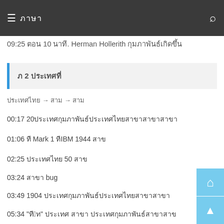☰ ภาษา
09:25 ตอน 10 นาที. Herman Hollerith กุมภาพันธ์เกิดขึ้น
ภ 2 ประเทศที่
ประเทศไทย → สาม → สาม
00:17 20ประเทศกุมภาพันธ์ประเทศไทยสาขาสาขาสาขา
01:06 ที Mark 1 ทีIBM 1944 สาข
02:25 ประเทศไทย 50 สาข
03:24 สาขา bug
03:49 1904 ประเทศกุมภาพันธ์ประเทศไทยสาขาสาขา
05:34 "ที่1ที" ประเทศ สาขา ประเทศกุมภาพันธ์สาขาสาข
06:40 1946 ประเทศสาขา ENIAC ประเทศสาขา
07:36 1947 ประเทศกุมภาพันธ์ประเทศสาขาIBM ประเทศสาขา